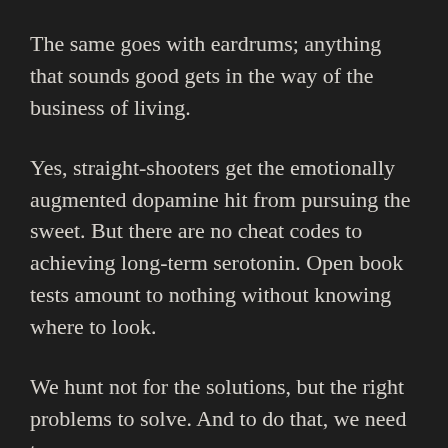The same goes with eardrums; anything that sounds good gets in the way of the business of living.
Yes, straight-shooters get the emotionally augmented dopamine hit from pursuing the sweet. But there are no cheat codes to achieving long-term serotonin. Open book tests amount to nothing without knowing where to look.
We hunt not for the solutions, but the right problems to solve. And to do that, we need to